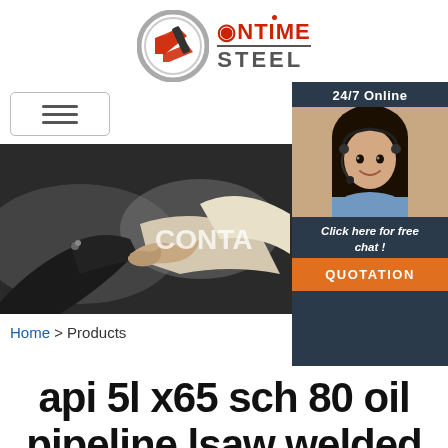[Figure (logo): OnTime Steel company logo with metallic circular emblem and red/grey text]
[Figure (screenshot): Website navigation bar with hamburger menu icon on left and 24/7 Online customer service chat widget on right showing agent photo, 'Click here for free chat!' text, and orange QUOTATION button]
[Figure (photo): Banner photo of two people shaking hands in business setting with partial text 'CONTA' visible, overlaid by customer service widget]
Home > Products
api 5l x65 sch 80 oil pipeline lsaw welded steel pipe